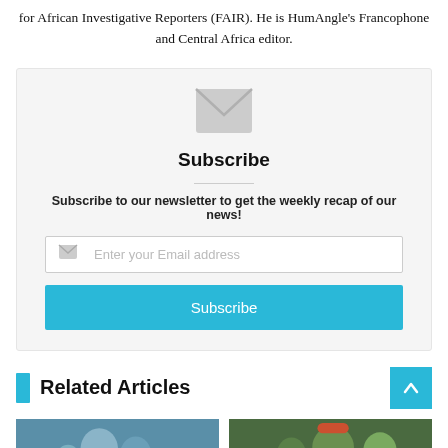for African Investigative Reporters (FAIR). He is HumAngle's Francophone and Central Africa editor.
[Figure (infographic): Newsletter subscription box with envelope icon, Subscribe heading, divider, description text, email input field, and cyan Subscribe button]
Related Articles
[Figure (photo): Two article thumbnail images side by side, left image shows people with a Translate button overlay, right image shows people in colorful attire]